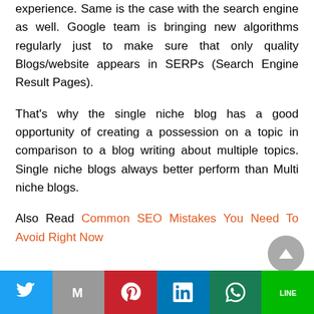experience. Same is the case with the search engine as well. Google team is bringing new algorithms regularly just to make sure that only quality Blogs/website appears in SERPs (Search Engine Result Pages).
That’s why the single niche blog has a good opportunity of creating a possession on a topic in comparison to a blog writing about multiple topics. Single niche blogs always better perform than Multi niche blogs.
Also Read Common SEO Mistakes You Need To Avoid Right Now
[Figure (infographic): Social share bar with Twitter, Gmail, Pinterest, LinkedIn, WhatsApp, and LINE buttons, plus a scroll-to-top arrow button]